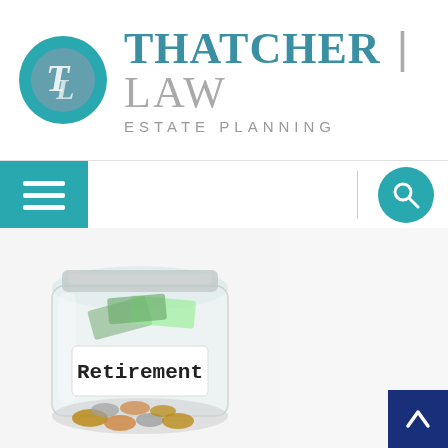[Figure (logo): Thatcher Law Estate Planning logo with circular TL monogram in teal/grey and firm name]
[Figure (screenshot): Website navigation bar with teal hamburger menu button on left, vertical divider line, and teal circular search icon on right]
[Figure (photo): Glass jar filled with US dollar bills and coins labeled 'Retirement' in handwritten text on white label, representing retirement savings]